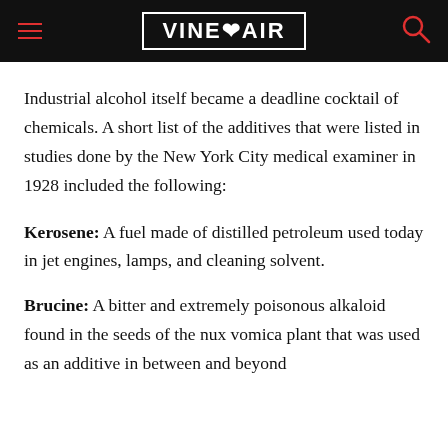VINEPAIR
Industrial alcohol itself became a deadline cocktail of chemicals. A short list of the additives that were listed in studies done by the New York City medical examiner in 1928 included the following:
Kerosene: A fuel made of distilled petroleum used today in jet engines, lamps, and cleaning solvent.
Brucine: A bitter and extremely poisonous alkaloid found in the seeds of the nux vomica plant that was used as an additive in between and beyond...